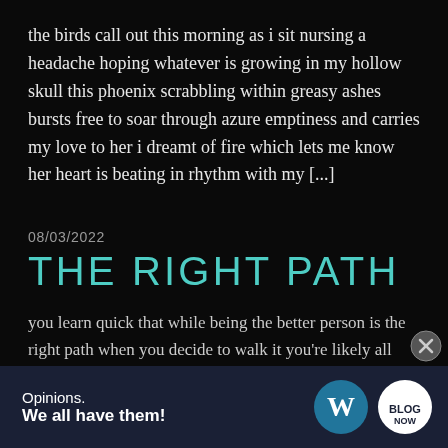the birds call out this morning as i sit nursing a headache hoping whatever is growing in my hollow skull this phoenix scrabbling within greasy ashes bursts free to soar through azure emptiness and carries my love to her i dreamt of fire which lets me know her heart is beating in rhythm with my [...]
08/03/2022
THE RIGHT PATH
you learn quick that while being the better person is the right path when you decide to walk it you’re likely all alone people do not ever stop to consider others so self absorbed they only see the...
[Figure (other): Advertisement banner: dark navy background with text 'Opinions. We all have them!' and WordPress logo and another circular logo on the right.]